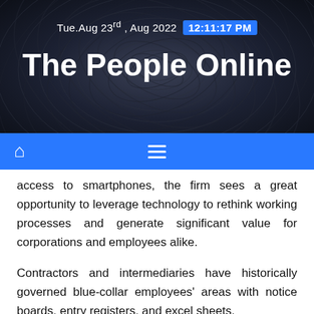Tue.Aug 23rd , Aug 2022  12:11:17 PM
The People Online
access to smartphones, the firm sees a great opportunity to leverage technology to rethink working processes and generate significant value for corporations and employees alike.
Contractors and intermediaries have historically governed blue-collar employees' areas with notice boards, entry registers, and excel sheets.